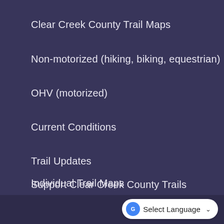Clear Creek County Trail Maps
Non-motorized (hiking, biking, equestrian)
OHV (motorized)
Current Conditions
Trail Updates
Individual Trail Maps
Support Clear Creek County Trails
Select Language